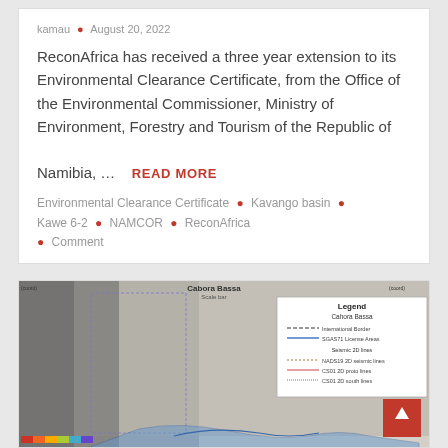kamau • August 20, 2022
ReconAfrica has received a three year extension to its Environmental Clearance Certificate, from the Office of the Environmental Commissioner, Ministry of Environment, Forestry and Tourism of the Republic of Namibia, ... READ MORE
Environmental Clearance Certificate • Kavango basin • Kawe 6-2 • NAMCOR • ReconAfrica
• Comment
[Figure (map): Map of Cabora Bassa region showing international borders, license areas, seismic lines (2D cross lines, proto lines, scout lines), with a legend in the upper right corner. The map shows terrain/topography in greyscale with some colored areas in the lower portion.]